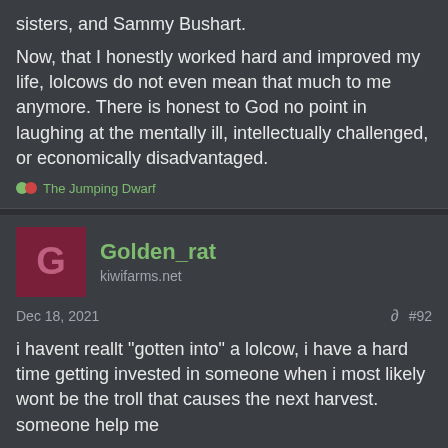sisters, and Sammy Bushart.
Now, that I honestly worked hard and improved my life, lolcows do not even mean that much to me anymore. There is honest to God no point in laughing at the mentally ill, intellectually challenged, or economically disadvantaged.
The Jumping Dwarf
Golden_rat
kiwifarms.net
Dec 18, 2021
#92
i havent reallt "gotten into" a lolcow, i have a hard time getting invested in someone when i most likely wont be the troll that causes the next harvest. someone help me
Just A Butt